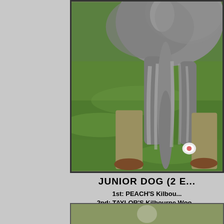[Figure (photo): Photo showing lower body of a large fluffy grey dog standing beside a person wearing khaki trousers and brown shoes on green grass. The dog's tail and hind legs are visible.]
JUNIOR DOG (2 E...
1st: PEACH'S Kilbou...
2nd: TAYLOR'S Kilbourne Woo...
[Figure (photo): Partial view of another photo at the bottom of the page, appearing to show an outdoor scene.]